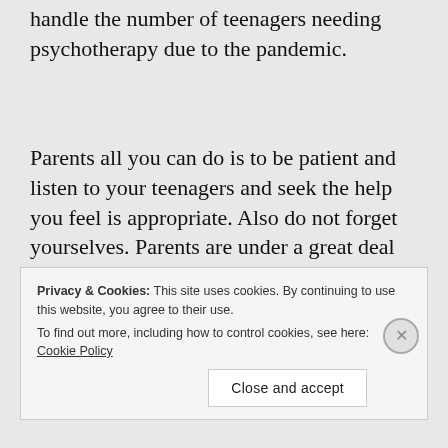handle the number of teenagers needing psychotherapy due to the pandemic.
Parents all you can do is to be patient and listen to your teenagers and seek the help you feel is appropriate. Also do not forget yourselves. Parents are under a great deal of stress too and you may need psychotherapy too. If you try to work together and are patient with each other, you
Privacy & Cookies: This site uses cookies. By continuing to use this website, you agree to their use.
To find out more, including how to control cookies, see here: Cookie Policy
Close and accept